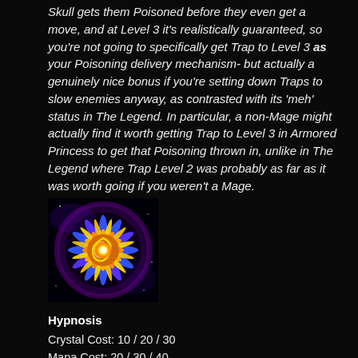Skull gets them Poisoned before they even get a move, and at Level 3 it's realistically guaranteed, so you're not going to specifically get Trap to Level 3 as your Poisoning delivery mechanism- but actually a genuinely nice bonus if you're setting down Traps to slow enemies anyway, as contrasted with its 'meh' status in The Legend. In particular, a non-Mage might actually find it worth getting Trap to Level 3 in Armored Princess to get that Poisoning thrown in, unlike in The Legend where Trap Level 2 was probably as far as it was worth going if you weren't a Mage.
[Figure (illustration): A glowing mandala-like flower with yellow, blue, and purple swirling psychedelic patterns on a dark space background — skill icon for Hypnosis]
Hypnosis
Crystal Cost: 10 / 20 / 30
Mana Cost: 20 / 30 / 40
Level 1 Statistics: Target's Level: 1-2; Leadership: 40% of hero's total